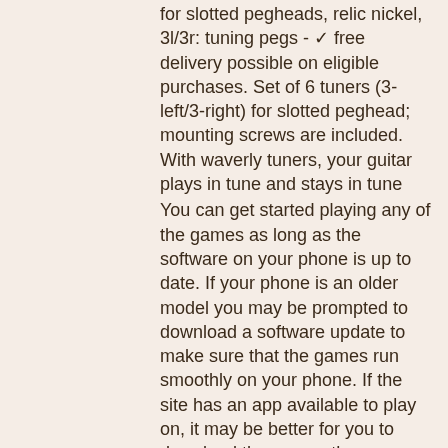for slotted pegheads, relic nickel, 3l/3r: tuning pegs - ✓ free delivery possible on eligible purchases. Set of 6 tuners (3-left/3-right) for slotted peghead; mounting screws are included. With waverly tuners, your guitar plays in tune and stays in tune
You can get started playing any of the games as long as the software on your phone is up to date. If your phone is an older model you may be prompted to download a software update to make sure that the games run smoothly on your phone. If the site has an app available to play on, it may be better for you to download the app as the experience will be a lot smoother and more enjoyable, slotted peghead guitar tuning machines. Some apps even provide you with exclusive bonuses! Find the best mobile casinos with SlotsBang.
Today's winners:
The Emperors Tomb - 629 bch